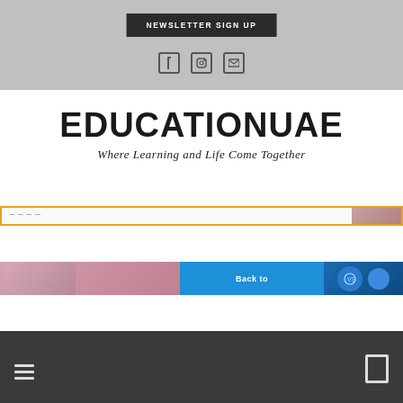[Figure (screenshot): Gray header area with NEWSLETTER SIGN UP dark button and three social media icon placeholders below it]
[Figure (logo): Education UAE logo with bold text EDUCATION UAE and italic tagline 'Where Learning and Life Come Together']
[Figure (screenshot): Orange-bordered banner strip partially visible at top]
[Figure (screenshot): Blue banner strip with 'Back to' text and photo thumbnails on left and right]
[Figure (screenshot): Dark gray footer bar with hamburger menu icon on left and rectangle icon on right]